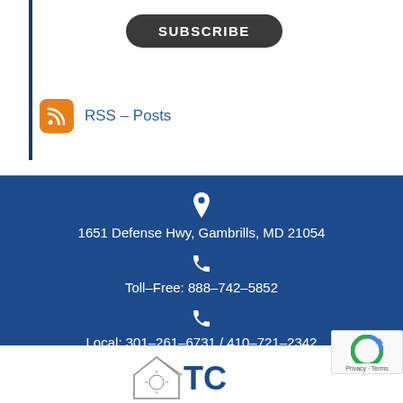[Figure (other): Subscribe button - dark rounded rectangle with white SUBSCRIBE text]
[Figure (other): RSS feed icon (orange square with white RSS symbol) next to blue link text RSS – Posts]
1651 Defense Hwy, Gambrills, MD 21054
Toll-Free: 888-742-5852
Local: 301-261-6731 / 410-721-2342
[Figure (logo): Partial TTC/TIC company logo at bottom of page]